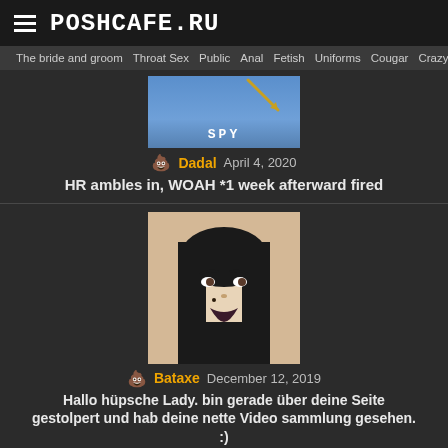POSHCAFE.RU
The bride and groom  Throat Sex  Public  Anal  Fetish  Uniforms  Cougar  Crazy
[Figure (screenshot): SPY image thumbnail with blue background]
Dadal  April 4, 2020
HR ambles in, WOAH *1 week afterward fired
[Figure (illustration): Illustration of a pale woman with long black hair and dark lips]
Bataxe  December 12, 2019
Hallo hüpsche Lady. bin gerade über deine Seite gestolpert und hab deine nette Video sammlung gesehen. :)
[Figure (photo): Photo of a man with a beige knit hat]